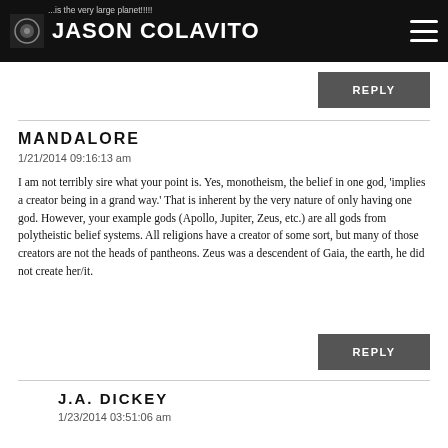JASON COLAVITO
...is the very large planet!!!!!
REPLY
MANDALORE
1/21/2014 09:16:13 am

I am not terribly sire what your point is. Yes, monotheism, the belief in one god, 'implies a creator being in a grand way.' That is inherent by the very nature of only having one god. However, your example gods (Apollo, Jupiter, Zeus, etc.) are all gods from polytheistic belief systems. All religions have a creator of some sort, but many of those creators are not the heads of pantheons. Zeus was a descendent of Gaia, the earth, he did not create her/it.
REPLY
J.A. DICKEY
1/23/2014 03:51:06 am